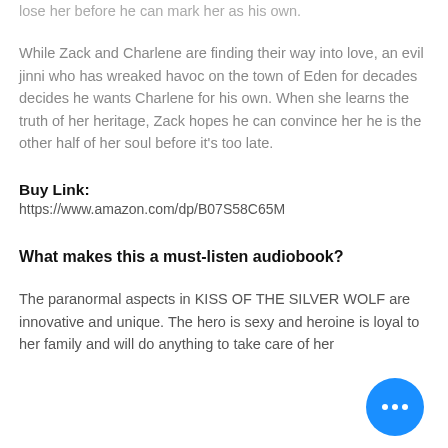lose her before he can mark her as his own.
While Zack and Charlene are finding their way into love, an evil jinni who has wreaked havoc on the town of Eden for decades decides he wants Charlene for his own. When she learns the truth of her heritage, Zack hopes he can convince her he is the other half of her soul before it's too late.
Buy Link:
https://www.amazon.com/dp/B07S58C65M
What makes this a must-listen audiobook?
The paranormal aspects in KISS OF THE SILVER WOLF are innovative and unique. The hero is sexy and heroine is loyal to her family and will do anything to take care of her...